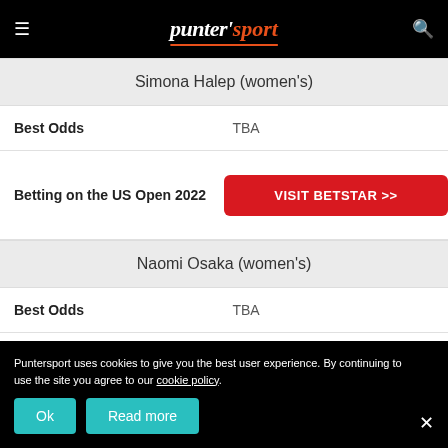punter'sport
Simona Halep (women's)
Best Odds	TBA
Betting on the US Open 2022 | VISIT BETSTAR >>
Naomi Osaka (women's)
Best Odds	TBA
Betting on the US Open
Puntersport uses cookies to give you the best user experience. By continuing to use the site you agree to our cookie policy.